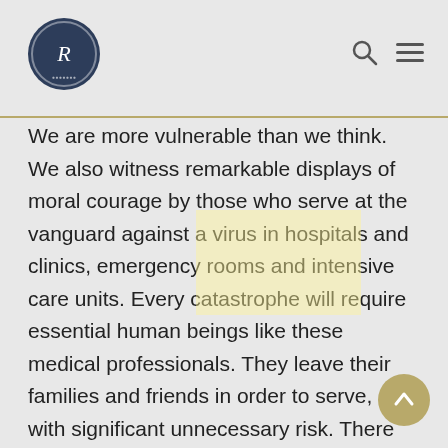[Logo: stylized R mark] [Search icon] [Menu icon]
We are more vulnerable than we think. We also witness remarkable displays of moral courage by those who serve at the vanguard against a virus in hospitals and clinics, emergency rooms and intensive care units. Every catastrophe will require essential human beings like these medical professionals. They leave their families and friends in order to serve, and with significant unnecessary risk. There are first responders around the world who place the well-being of others before themselves. Recently in New York at the Jacobi Medical Center in the Bronx, and hospitals across the world, these medical personnel arrive and serve under duress, and increasingly thousands of volunteers are signing up to join their colleagues, or provide resources, in order to press forward.  As states require more assistance, governors are learning to lean into their constitutional rights with a